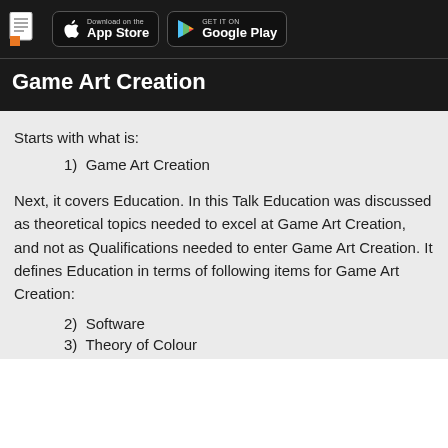Game Art Creation
Starts with what is:
1)  Game Art Creation
Next, it covers Education. In this Talk Education was discussed as theoretical topics needed to excel at Game Art Creation, and not as Qualifications needed to enter Game Art Creation. It defines Education in terms of following items for Game Art Creation:
2)  Software
3)  Theory of Colour